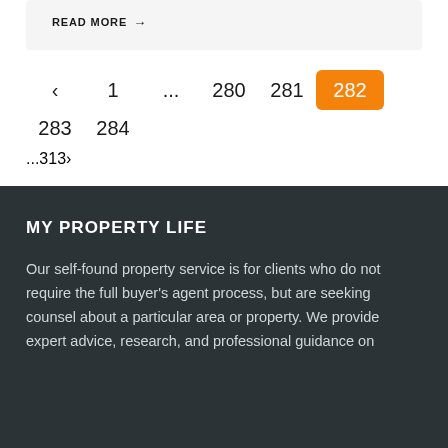READ MORE →
‹  1  ...  280  281  282  283  284  ...  313  ›
MY PROPERTY LIFE
Our self-found property service is for clients who do not require the full buyer's agent process, but are seeking counsel about a particular area or property. We provide expert advice, research, and professional guidance on